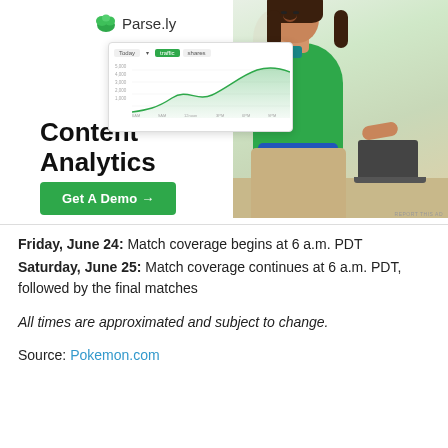[Figure (illustration): Parse.ly advertisement banner showing logo, a dashboard analytics screenshot mockup, headline 'Content Analytics Made Easy', a green 'Get A Demo →' button, and a photo of a woman in a green top standing by a desk with a laptop. 'REPORT THIS AD' label in corner.]
Friday, June 24: Match coverage begins at 6 a.m. PDT
Saturday, June 25: Match coverage continues at 6 a.m. PDT, followed by the final matches
All times are approximated and subject to change.
Source: Pokemon.com